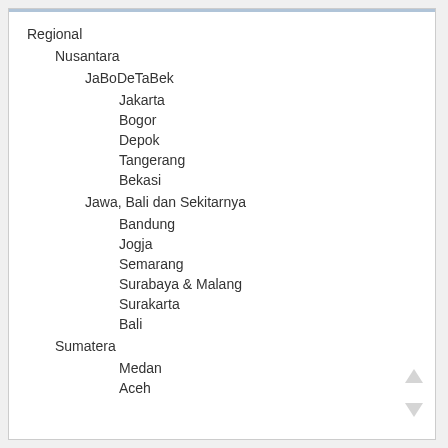Regional
Nusantara
JaBoDeTaBek
Jakarta
Bogor
Depok
Tangerang
Bekasi
Jawa, Bali dan Sekitarnya
Bandung
Jogja
Semarang
Surabaya & Malang
Surakarta
Bali
Sumatera
Medan
Aceh